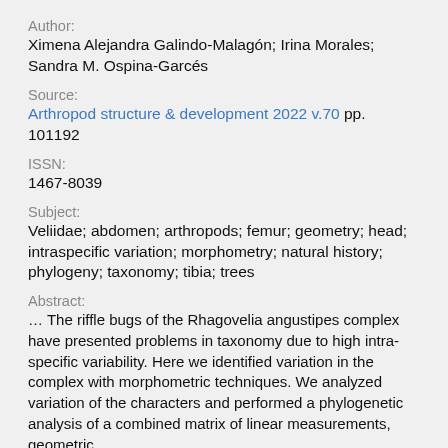Author:
Ximena Alejandra Galindo-Malagón; Irina Morales; Sandra M. Ospina-Garcés
Source:
Arthropod structure & development 2022 v.70 pp. 101192
ISSN:
1467-8039
Subject:
Veliidae; abdomen; arthropods; femur; geometry; head; intraspecific variation; morphometry; natural history; phylogeny; taxonomy; tibia; trees
Abstract:
… The riffle bugs of the Rhagovelia angustipes complex have presented problems in taxonomy due to high intra-specific variability. Here we identified variation in the complex with morphometric techniques. We analyzed variation of the characters and performed a phylogenetic analysis of a combined matrix of linear measurements, geometric